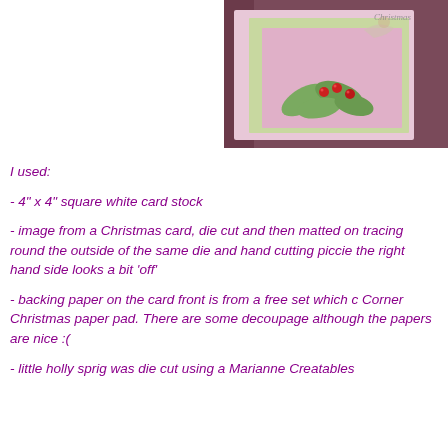[Figure (photo): Partial view of a handmade Christmas card showing pink/purple background with a green holly sprig decoration with red berries, and a light green patterned mat. Text 'Christmas' partially visible in upper right.]
I used:
- 4" x 4" square white card stock
- image from a Christmas card, die cut and then matted on tracing round the outside of the same die and hand cutting piccie the right hand side looks a bit 'off'
- backing paper on the card front is from a free set which c Corner Christmas paper pad. There are some decoupage although the papers are nice :(
- little holly sprig was die cut using a Marianne Creatables